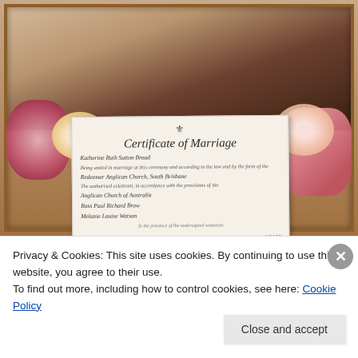[Figure (photo): A framed wedding display showing a couple embracing at the top, flanked by pink frangipani flowers and a red/pink bouquet on the left and a tiered pink wedding cake on the right. In the centre of the frame is an Australian Certificate of Marriage with cursive text reading 'Certificate of Marriage', names including 'Katherine Ruth Sutton Broad', 'Redeemer Anglican Church, South Brisbane', 'Anglican Church of Australia', 'Ross Paul Richard Brow', 'Melanie Louise Watson', with signatures at the bottom.]
Privacy & Cookies: This site uses cookies. By continuing to use this website, you agree to their use.
To find out more, including how to control cookies, see here: Cookie Policy